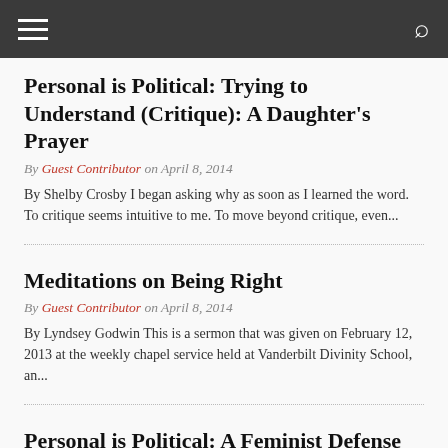Navigation bar with hamburger menu and search icon
Personal is Political: Trying to Understand (Critique): A Daughter's Prayer
By Guest Contributor on April 8, 2014
By Shelby Crosby I began asking why as soon as I learned the word. To critique seems intuitive to me. To move beyond critique, even...
Meditations on Being Right
By Guest Contributor on April 8, 2014
By Lyndsey Godwin This is a sermon that was given on February 12, 2013 at the weekly chapel service held at Vanderbilt Divinity School, an...
Personal is Political: A Feminist Defense of Cinderella
By Guest Contributor on March 27, 2014
Shoshanna Schechter-Shaffin explores the relationship between